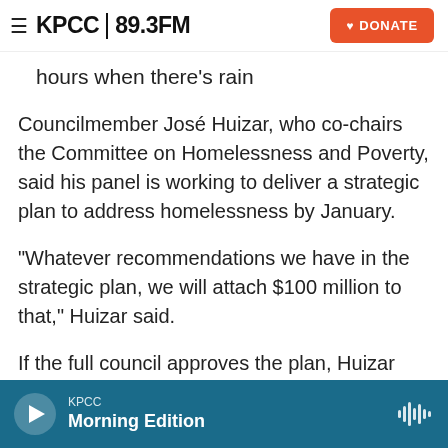KPCC 89.3FM | DONATE
hours when there’s rain
Councilmember José Huizar, who co-chairs the Committee on Homelessness and Poverty, said his panel is working to deliver a strategic plan to address homelessness by January.
“Whatever recommendations we have in the strategic plan, we will attach $100 million to that,” Huizar said.
If the full council approves the plan, Huizar said members will find the $100 million from savings in this year’s budget or next year’s. He said budget staff
KPCC Morning Edition